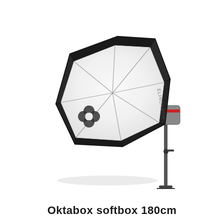[Figure (illustration): A large octagonal softbox (octabox) mounted on a studio flash strobe on a light stand. The octabox has a white diffusion front panel with black fabric sides and metal frame rods. A brand logo (four-petal flower design) is visible on the front diffusion panel. The strobe head is visible on the right side with a red accent. The light stand extends below the strobe.]
Oktabox softbox 180cm